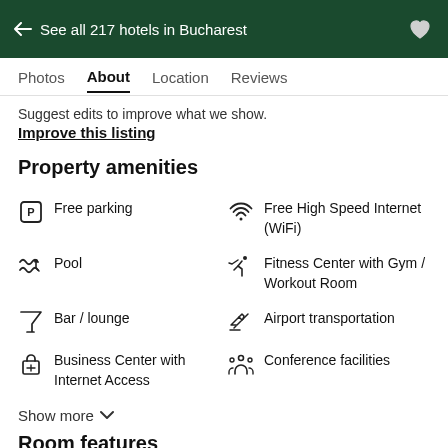← See all 217 hotels in Bucharest
Photos  About  Location  Reviews
Suggest edits to improve what we show.
Improve this listing
Property amenities
Free parking
Free High Speed Internet (WiFi)
Pool
Fitness Center with Gym / Workout Room
Bar / lounge
Airport transportation
Business Center with Internet Access
Conference facilities
Show more ▾
Room features